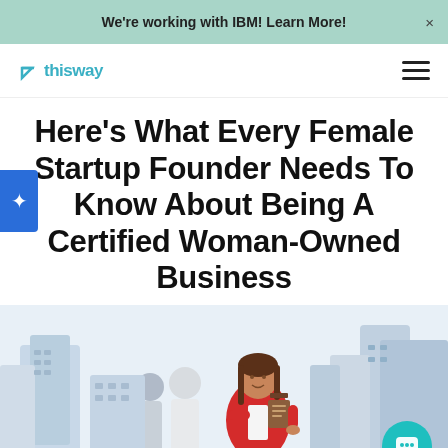We're working with IBM! Learn More!
[Figure (logo): ThisWay Global logo with teal arrow icon and text 'thisway']
Here's What Every Female Startup Founder Needs To Know About Being A Certified Woman-Owned Business
[Figure (illustration): Illustrated scene of a confident businesswoman in a red blazer holding a clipboard, standing in front of a city skyline with other business people in the background. Light blue/grey color palette.]